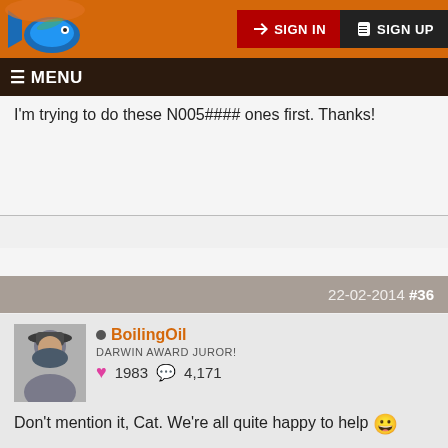[Figure (screenshot): Website top header with orange background, fish logo on left, SIGN IN and SIGN UP buttons on right]
☰ MENU
I'm trying to do these N005#### ones first. Thanks!
22-02-2014 #36
BoilingOil
DARWIN AWARD JUROR!
♥ 1983  4,171
Don't mention it, Cat. We're all quite happy to help 😀